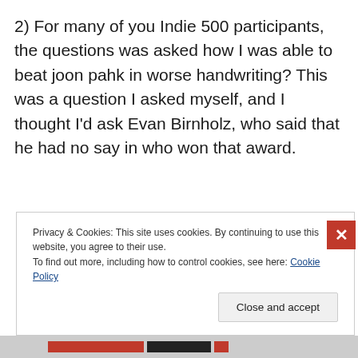2) For many of you Indie 500 participants, the questions was asked how I was able to beat joon pahk in worse handwriting? This was a question I asked myself, and I thought I'd ask Evan Birnholz, who said that he had no say in who won that award.
Privacy & Cookies: This site uses cookies. By continuing to use this website, you agree to their use.
To find out more, including how to control cookies, see here: Cookie Policy